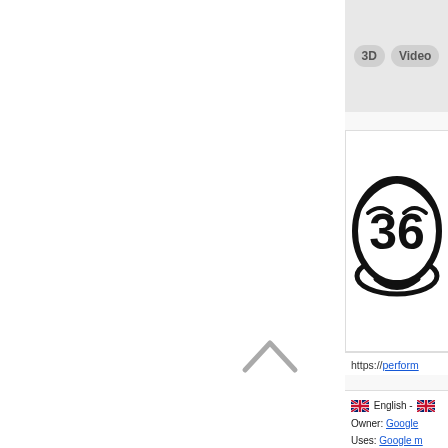[Figure (screenshot): Left white panel with a caret/chevron up arrow symbol in grey]
[Figure (screenshot): Top bar with 3D and Video buttons in grey pill shapes]
[Figure (illustration): Cartoon character face with number 36 inside, drawn in bold black lines on white background]
https://perform
🇬🇧 English - 🇬🇧
Owner: Google
Uses: Google m
address: USA